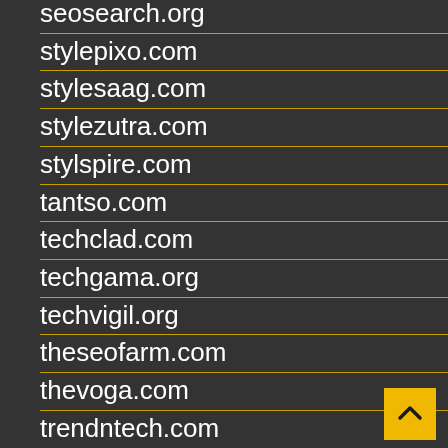seosearch.org
stylepixo.com
stylesaag.com
stylezutra.com
stylspire.com
tantso.com
techclad.com
techgama.org
techvigil.org
theseofarm.com
thevoga.com
trendntech.com
worldplayerx.com
luxelifelove.com
puremarketing.uk
franshiza.pro
newamericancasinos.com
mut.ac.ke